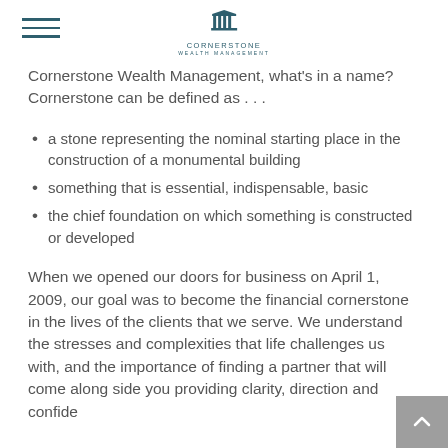Cornerstone Wealth Management logo and navigation
Cornerstone Wealth Management, what's in a name? Cornerstone can be defined as . . .
a stone representing the nominal starting place in the construction of a monumental building
something that is essential, indispensable, basic
the chief foundation on which something is constructed or developed
When we opened our doors for business on April 1, 2009, our goal was to become the financial cornerstone in the lives of the clients that we serve. We understand the stresses and complexities that life challenges us with, and the importance of finding a partner that will come along side you providing clarity, direction and confide